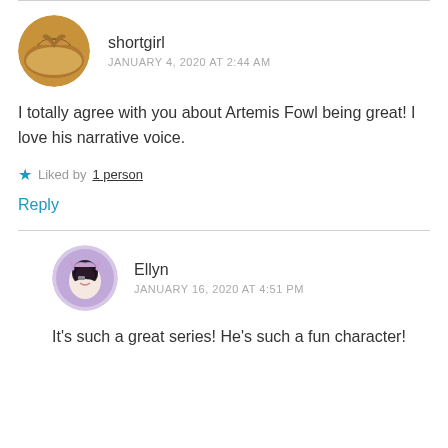[Figure (illustration): Circular avatar of a book with pages folded into a heart shape, warm brown tones]
shortgirl
JANUARY 4, 2020 AT 2:44 AM
I totally agree with you about Artemis Fowl being great! I love his narrative voice.
★ Liked by 1 person
Reply
[Figure (illustration): Circular avatar of an anime-style girl with glasses and dark curly hair with small horns, wearing white]
Ellyn
JANUARY 16, 2020 AT 4:51 PM
It's such a great series! He's such a fun character!